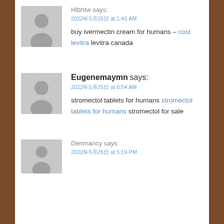Hlbhtw says:
2022年5月25日 at 1:41 AM
buy ivermectin cream for humans – cost levitra levitra canada
Eugenemaymn says:
2022年5月25日 at 8:54 AM
stromectol tablets for humans stromectol tablets for humans stromectol for sale
Denmancy says:
2022年5月25日 at 5:19 PM